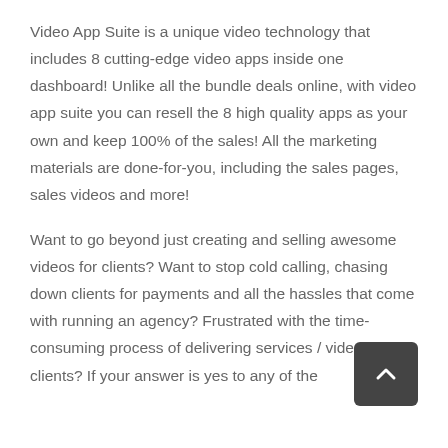Video App Suite is a unique video technology that includes 8 cutting-edge video apps inside one dashboard! Unlike all the bundle deals online, with video app suite you can resell the 8 high quality apps as your own and keep 100% of the sales! All the marketing materials are done-for-you, including the sales pages, sales videos and more!
Want to go beyond just creating and selling awesome videos for clients? Want to stop cold calling, chasing down clients for payments and all the hassles that come with running an agency? Frustrated with the time-consuming process of delivering services / videos to clients? If your answer is yes to any of the